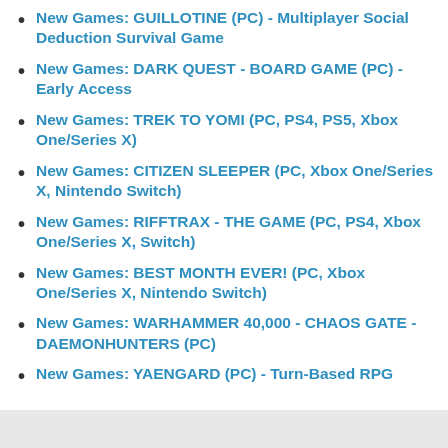New Games: GUILLOTINE (PC) - Multiplayer Social Deduction Survival Game
New Games: DARK QUEST - BOARD GAME (PC) - Early Access
New Games: TREK TO YOMI (PC, PS4, PS5, Xbox One/Series X)
New Games: CITIZEN SLEEPER (PC, Xbox One/Series X, Nintendo Switch)
New Games: RIFFTRAX - THE GAME (PC, PS4, Xbox One/Series X, Switch)
New Games: BEST MONTH EVER! (PC, Xbox One/Series X, Nintendo Switch)
New Games: WARHAMMER 40,000 - CHAOS GATE - DAEMONHUNTERS (PC)
New Games: YAENGARD (PC) - Turn-Based RPG